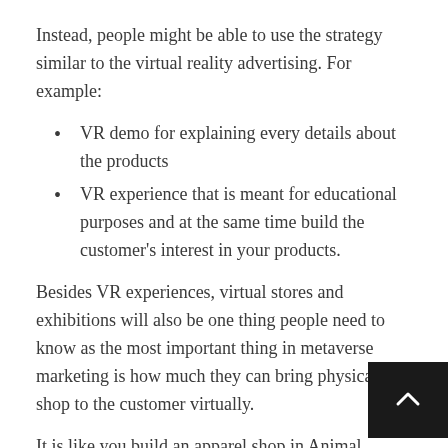Instead, people might be able to use the strategy similar to the virtual reality advertising. For example:
VR demo for explaining every details about the products
VR experience that is meant for educational purposes and at the same time build the customer's interest in your products.
Besides VR experiences, virtual stores and exhibitions will also be one thing people need to know as the most important thing in metaverse marketing is how much they can bring physical shop to the customer virtually.
It is like you build an apparel shop in Animal Crossing or make a 360-degree lookbook so that the customer can take a look at the item just like how they see it in the physical store. For instance, the video game titled Afterworld: The